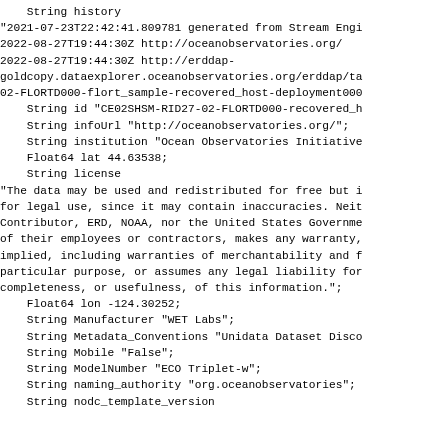String history
"2021-07-23T22:42:41.809781 generated from Stream Engi
2022-08-27T19:44:30Z http://oceanobservatories.org/
2022-08-27T19:44:30Z http://erddap-
goldcopy.dataexplorer.oceanobservatories.org/erddap/ta
02-FLORTD000-flort_sample-recovered_host-deployment000
    String id "CE02SHSM-RID27-02-FLORTD000-recovered_h
    String infoUrl "http://oceanobservatories.org/";
    String institution "Ocean Observatories Initiative
    Float64 lat 44.63538;
    String license
"The data may be used and redistributed for free but i
for legal use, since it may contain inaccuracies. Neit
Contributor, ERD, NOAA, nor the United States Governme
of their employees or contractors, makes any warranty,
implied, including warranties of merchantability and f
particular purpose, or assumes any legal liability for
completeness, or usefulness, of this information.";
    Float64 lon -124.30252;
    String Manufacturer "WET Labs";
    String Metadata_Conventions "Unidata Dataset Disco
    String Mobile "False";
    String ModelNumber "ECO Triplet-w";
    String naming_authority "org.oceanobservatories";
    String nodc_template_version